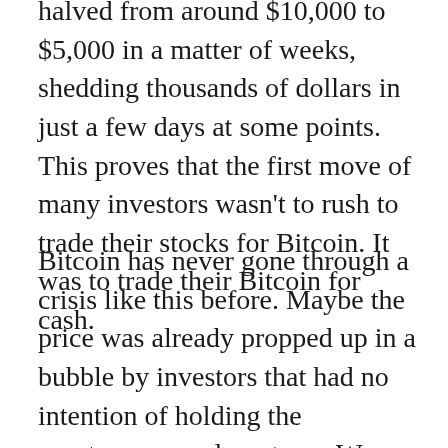halved from around $10,000 to $5,000 in a matter of weeks, shedding thousands of dollars in just a few days at some points. This proves that the first move of many investors wasn't to rush to trade their stocks for Bitcoin. It was to trade their Bitcoin for cash.
Bitcoin has never gone through a crisis like this before. Maybe the price was already propped up in a bubble by investors that had no intention of holding the cryptocurrency long term. We just don't know at this point. All we know is that things will be unpredictable for at least a few more months.